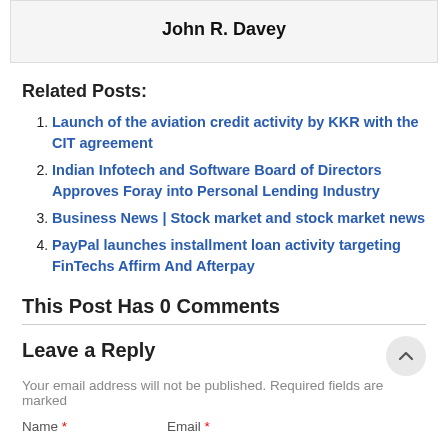John R. Davey
Related Posts:
Launch of the aviation credit activity by KKR with the CIT agreement
Indian Infotech and Software Board of Directors Approves Foray into Personal Lending Industry
Business News | Stock market and stock market news
PayPal launches installment loan activity targeting FinTechs Affirm And Afterpay
This Post Has 0 Comments
Leave a Reply
Your email address will not be published. Required fields are marked
Name *   Email *